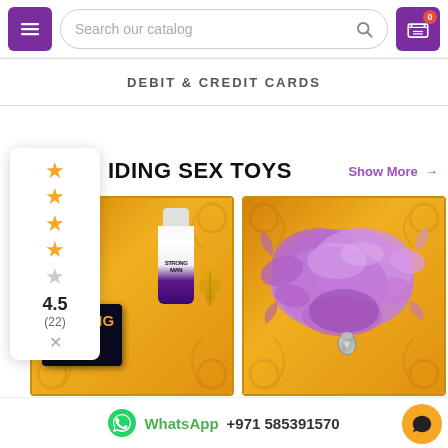Search our catalog
DEBIT & CREDIT CARDS
TRENDING SEX TOYS
Show More →
[Figure (photo): Strong Man XXL product photo on orange background showing box and tube]
STRONG MAN XXL BIG ENLARG...
[Figure (photo): Fox tail picky plug metal product photo on orange background showing purple fur tail with metal plug]
FOX TAIL PICKY PLUG META...
4.5
(22)
WhatsApp +971 585391570